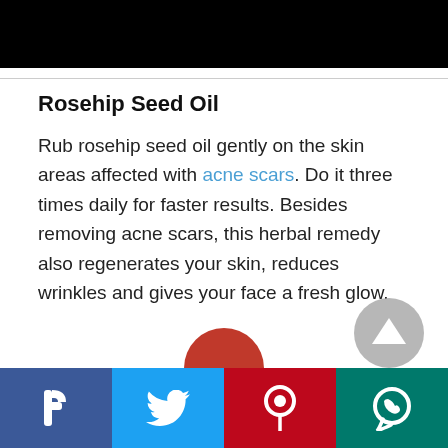[Figure (photo): Black image banner at the top of the page]
Rosehip Seed Oil
Rub rosehip seed oil gently on the skin areas affected with acne scars. Do it three times daily for faster results. Besides removing acne scars, this herbal remedy also regenerates your skin, reduces wrinkles and gives your face a fresh glow.
[Figure (infographic): Social media share bar at the bottom with Facebook, Twitter, Pinterest, and WhatsApp buttons]